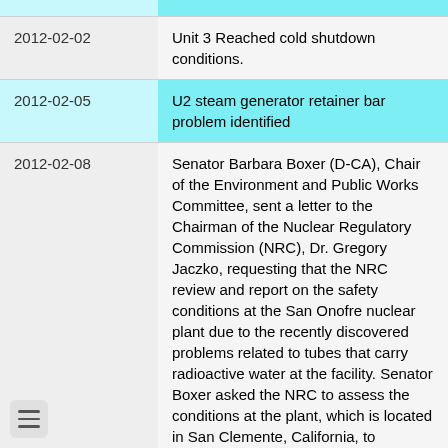| Date | Event |
| --- | --- |
|  |  |
| 2012-02-02 | Unit 3 Reached cold shutdown conditions. |
| 2012-02-05 | U2 steam generator retainer bar problem identified |
| 2012-02-08 | Senator Barbara Boxer (D-CA), Chair of the Environment and Public Works Committee, sent a letter to the Chairman of the Nuclear Regulatory Commission (NRC), Dr. Gregory Jaczko, requesting that the NRC review and report on the safety conditions at the San Onofre nuclear plant due to the recently discovered problems related to tubes that carry radioactive water at the facility. Senator Boxer asked the NRC to assess the conditions at the plant, which is located in San Clemente, California, to determine if further action is needed. |
| 2012-02-11 | U2 initial Eddy Current Testing (ECT) ... |